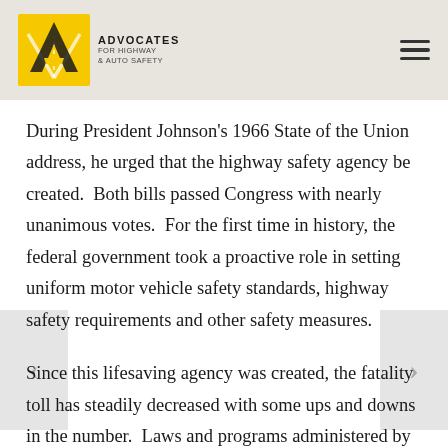Advocates for Highway & Auto Safety
During President Johnson’s 1966 State of the Union address, he urged that the highway safety agency be created. Both bills passed Congress with nearly unanimous votes. For the first time in history, the federal government took a proactive role in setting uniform motor vehicle safety standards, highway safety requirements and other safety measures.
Since this lifesaving agency was created, the fatality toll has steadily decreased with some ups and downs in the number. Laws and programs administered by NHTSA